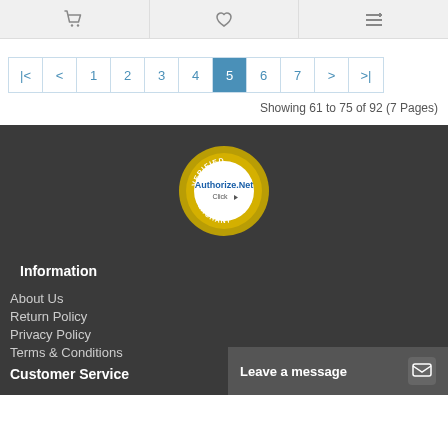[Figure (other): Top icon bar with shopping cart, heart/wishlist, and menu/filter icons]
[Figure (other): Pagination bar showing pages |< < 1 2 3 4 5 6 7 > >|, with page 5 highlighted]
Showing 61 to 75 of 92 (7 Pages)
[Figure (logo): Authorize.Net Verified Merchant badge/seal with golden gear border]
Information
About Us
Return Policy
Privacy Policy
Terms & Conditions
Customer Service
Leave a message